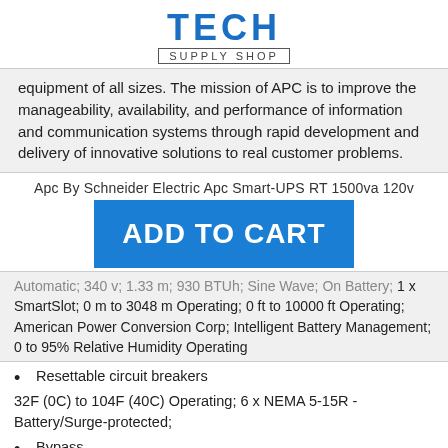[Figure (logo): Tech Supply Shop logo with blue TECH text and boxed SUPPLY SHOP subtitle]
equipment of all sizes. The mission of APC is to improve the manageability, availability, and performance of information and communication systems through rapid development and delivery of innovative solutions to real customer problems.
Apc By Schneider Electric Apc Smart-UPS RT 1500va 120v
ADD TO CART
Automatic; 340 v; 1.33 m; 930 BTUh; Sine Wave; On Battery; 1 x SmartSlot; 0 m to 3048 m Operating; 0 ft to 10000 ft Operating; American Power Conversion Corp; Intelligent Battery Management; 0 to 95% Relative Humidity Operating
Resettable circuit breakers
32F (0C) to 104F (40C) Operating; 6 x NEMA 5-15R - Battery/Surge-protected;
Bypass